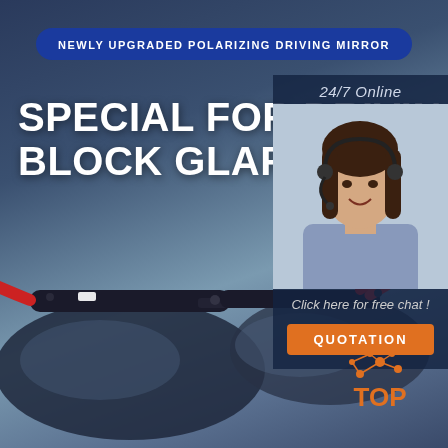[Figure (photo): Product advertisement for polarizing driving sunglasses. Dark background with blue-grey gradient. Sunglasses with black frame and red temple arms displayed prominently in lower half of image.]
NEWLY UPGRADED POLARIZING DRIVING MIRROR
SPECIAL FOR DRIVING BLOCK GLARE
24/7 Online
[Figure (photo): Customer service agent woman wearing headset, smiling, in blue-grey top]
Click here for free chat !
QUOTATION
[Figure (logo): TOP logo with orange network/molecule graphic and text TOP in orange]